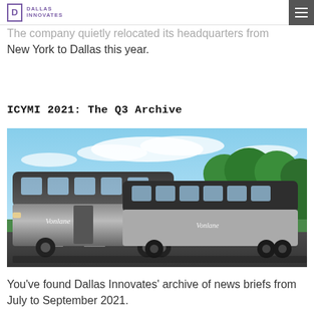Dallas Innovates
The company quietly relocated its headquarters from New York to Dallas this year.
ICYMI 2021: The Q3 Archive
[Figure (photo): Silver Vonlane luxury bus parked on a road with green trees and blue sky in the background.]
You've found Dallas Innovates' archive of news briefs from July to September 2021.